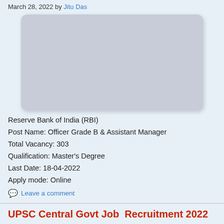March 28, 2022 by Jitu Das
[Figure (photo): Placeholder image for RBI recruitment post, light gray rounded rectangle]
Reserve Bank of India (RBI)
Post Name: Officer Grade B & Assistant Manager
Total Vacancy: 303
Qualification: Master's Degree
Last Date: 18-04-2022
Apply mode: Online
Leave a comment
UPSC Central Govt Job  Recruitment 2022 – 25 Director, Lecturer & Engineer Vacancy